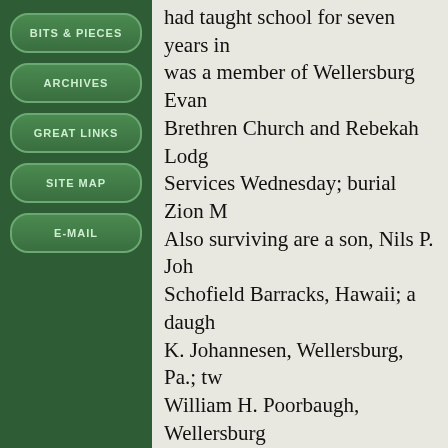BITS & PIECES
ARCHIVES
GREAT LINKS
SITE MAP
E-mail
had taught school for seven years in was a member of Wellersburg Evan Brethren Church and Rebekah Lodg Services Wednesday; burial Zion M Also surviving are a son, Nils P. Joh Schofield Barracks, Hawaii; a daugh K. Johannesen, Wellersburg, Pa.; tw William H. Poorbaugh, Wellersburg Poorbaugh, Baltimore; and a sister, Matthew, Mt. Savage.
The Cumberland Evening Times, May 10 (Courtesy of Sheryl Kelso) Posted March 28, 2010
JOHNS, Charles S.
TERRA ALTA — Charles S. Johns, died yesterday at Preston Memorial Kingwood. A native of Preston Cou son of the late Jacob and Margaret ( He was a member of the Church of Laurel Glen. Surviving are his wido (Wolf,) Johr daughter Mr. P